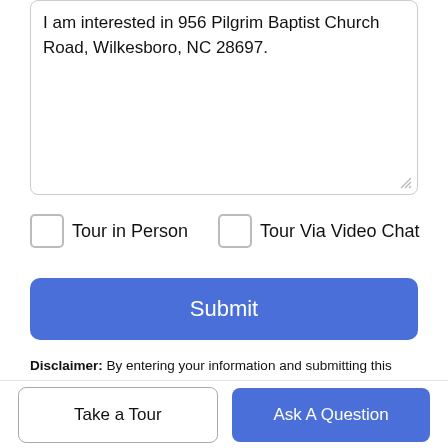I am interested in 956 Pilgrim Baptist Church Road, Wilkesboro, NC 28697.
Tour in Person
Tour Via Video Chat
Submit
Disclaimer: By entering your information and submitting this form, you agree to our Terms of Use and Privacy Policy and that you may be contacted by phone, text message and email about your inquiry.
Take a Tour
Ask A Question